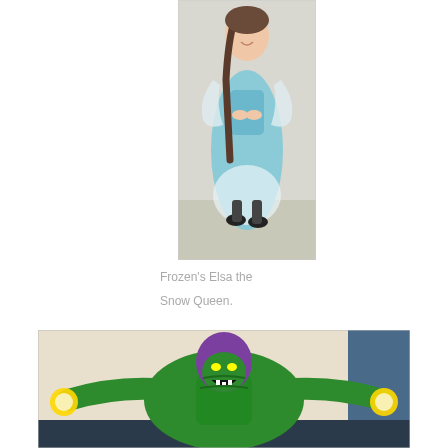[Figure (photo): A girl dressed as Frozen's Elsa the Snow Queen, wearing a light blue dress with white sheer overlay and black shoes, braided hair, standing in an indoor hallway.]
Frozen's Elsa the Snow Queen.
[Figure (photo): A person dressed as the Green Goblin from Spider-Man, wearing a full green armored costume with a purple helmet, arms spread wide holding glowing orbs, posing in an indoor hallway.]